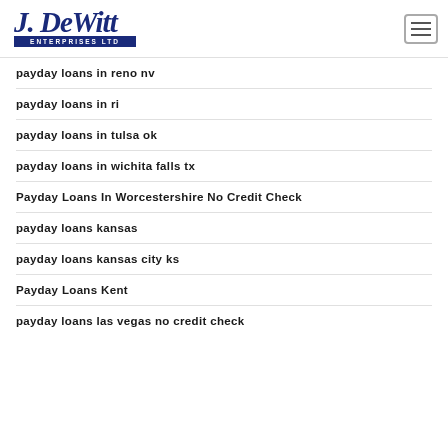[Figure (logo): J. DeWitt Enterprises Ltd logo in blue cursive and block letters]
payday loans in reno nv
payday loans in ri
payday loans in tulsa ok
payday loans in wichita falls tx
Payday Loans In Worcestershire No Credit Check
payday loans kansas
payday loans kansas city ks
Payday Loans Kent
payday loans las vegas no credit check